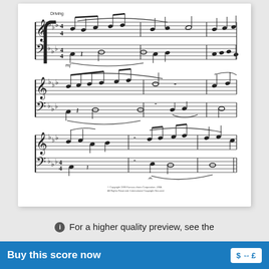[Figure (illustration): Sheet music preview showing three systems of piano music notation with treble and bass clef staves, key signature with flats, time signature 4/4, tempo marking 'Driving', dynamic marking 'mf', with notes, slurs, and ties across three lines of music. Copyright notice at bottom reads '© Copyright 1999 Hansen House Corporation, USA. All Rights Reserved. International Copyright Secured.']
ℹ For a higher quality preview, see the Interactive preview.
Buy this score now $ ↔ £